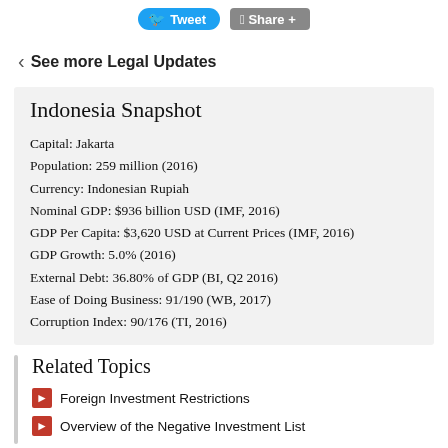Tweet | Share +
< See more Legal Updates
Indonesia Snapshot
Capital: Jakarta
Population: 259 million (2016)
Currency: Indonesian Rupiah
Nominal GDP: $936 billion USD (IMF, 2016)
GDP Per Capita: $3,620 USD at Current Prices (IMF, 2016)
GDP Growth: 5.0% (2016)
External Debt: 36.80% of GDP (BI, Q2 2016)
Ease of Doing Business: 91/190 (WB, 2017)
Corruption Index: 90/176 (TI, 2016)
Related Topics
Foreign Investment Restrictions
Overview of the Negative Investment List